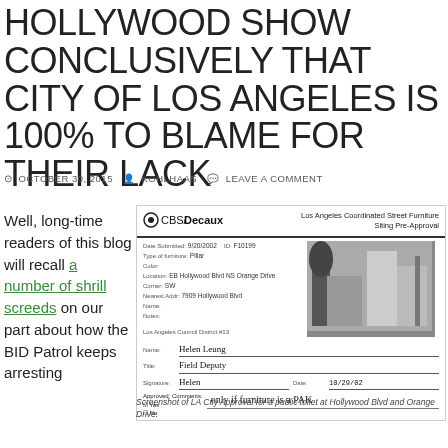HOLLYWOOD SHOW CONCLUSIVELY THAT CITY OF LOS ANGELES IS 100% TO BLAME FOR THEIR LACK
OCTOBER 30, 2015   KOHLHAAS   LEAVE A COMMENT
Well, long-time readers of this blog will recall a number of shrill screeds on our part about how the BID Patrol keeps arresting
[Figure (photo): Screenshot of LA City Approval document for a public toilet at Hollywood Blvd and Orange Drive. CBS/Decaux form with Los Angeles Coordinated Street Furniture Siting Pre-Approval. Shows handwritten entries including Name: Helen Leung, Title: Field Deputy, Signature, Date: 10/29/02, Comment: Only if furniture is a PAK]
Screenshot of LA City Approval for a public toilet at Hollywood Blvd and Orange Drive.